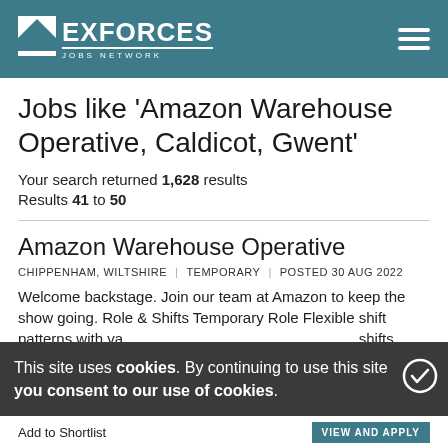EXFORCES JOBS NETWORK
Jobs like 'Amazon Warehouse Operative, Caldicot, Gwent'
Your search returned 1,628 results
Results 41 to 50
Amazon Warehouse Operative
CHIPPENHAM, WILTSHIRE | TEMPORARY | POSTED 30 AUG 2022
Welcome backstage. Join our team at Amazon to keep the show going. Role & amp; Shifts Temporary Role Flexible shift patterns with various shift options available. Work a shifts made up between...
This site uses cookies. By continuing to use this site you consent to our use of cookies.
Add to Shortlist